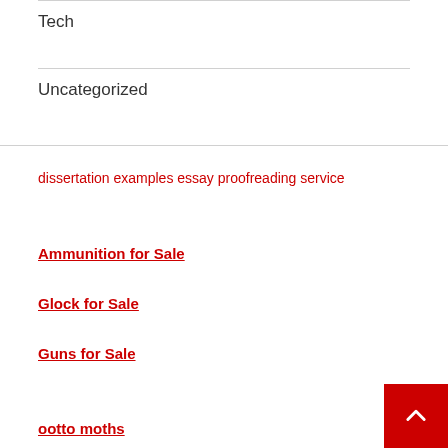Tech
Uncategorized
dissertation examples essay proofreading service
Ammunition for Sale
Glock for Sale
Guns for Sale
ootto moths